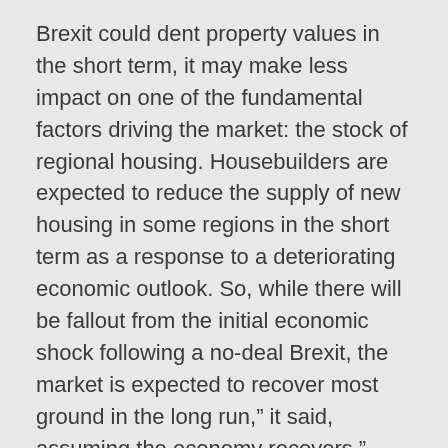Brexit could dent property values in the short term, it may make less impact on one of the fundamental factors driving the market: the stock of regional housing. Housebuilders are expected to reduce the supply of new housing in some regions in the short term as a response to a deteriorating economic outlook. So, while there will be fallout from the initial economic shock following a no-deal Brexit, the market is expected to recover most ground in the long run,” it said, assuming the economy recovers.”
The latest house price index from lender Nationwide shows annual house price growth remaining subdued at 0.6% in August. This is a